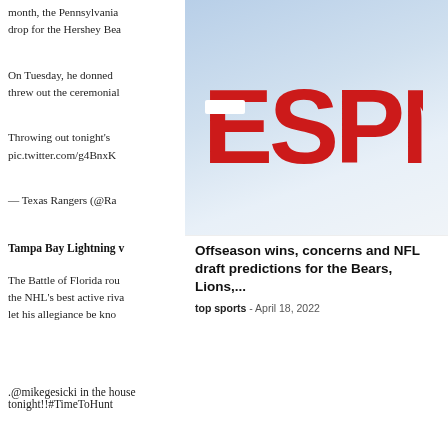month, the Pennsylvania drop for the Hershey Bea
On Tuesday, he donned threw out the ceremonial
Throwing out tonight's pic.twitter.com/g4BnxK
— Texas Rangers (@Ra
Tampa Bay Lightning v
The Battle of Florida rou the NHL's best active riva let his allegiance be kno
[Figure (photo): ESPN logo on a light blue/grey background]
Offseason wins, concerns and NFL draft predictions for the Bears, Lions,...
top sports  -  April 18, 2022
.@mikegesicki in the house tonight!!#TimeToHunt